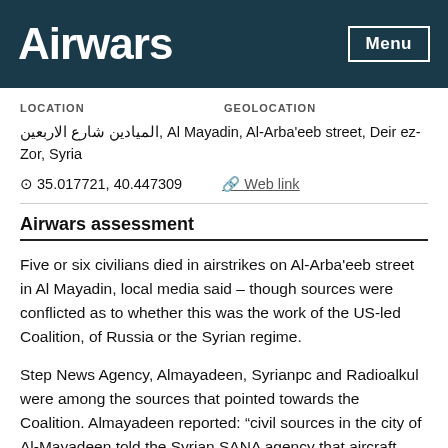Airwars
LOCATION
GEOLOCATION
الميادين شارع الاربعين, Al Mayadin, Al-Arba'eeb street, Deir ez-Zor, Syria
⊙ 35.017721, 40.447309
Web link
Airwars assessment
Five or six civilians died in airstrikes on Al-Arba'eeb street in Al Mayadin, local media said – though sources were conflicted as to whether this was the work of the US-led Coalition, of Russia or the Syrian regime.
Step News Agency, Almayadeen, Syrianpc and Radioalkul were among the sources that pointed towards the Coalition. Almayadeen reported: “civil sources in the city of Al-Mayadeen told the Syrian SANA agency that aircraft belonging to the Coalition